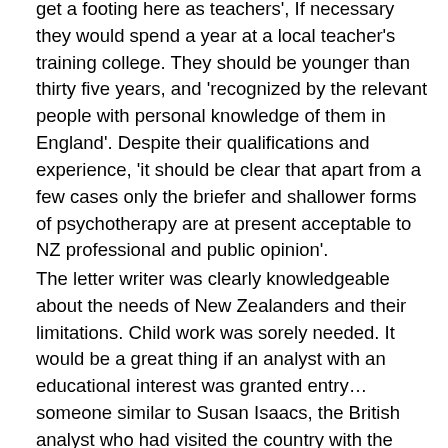get a footing here as teachers', If necessary they would spend a year at a local teacher's training college. They should be younger than thirty five years, and 'recognized by the relevant people with personal knowledge of them in England'. Despite their qualifications and experience, 'it should be clear that apart from a few cases only the briefer and shallower forms of psychotherapy are at present acceptable to NZ professional and public opinion'.
The letter writer was clearly knowledgeable about the needs of New Zealanders and their limitations. Child work was sorely needed. It would be a great thing if an analyst with an educational interest was granted entry… someone similar to Susan Isaacs, the British analyst who had visited the country with the New Education Fellowship in August 1937.A woman had better prospects than a man, the writer